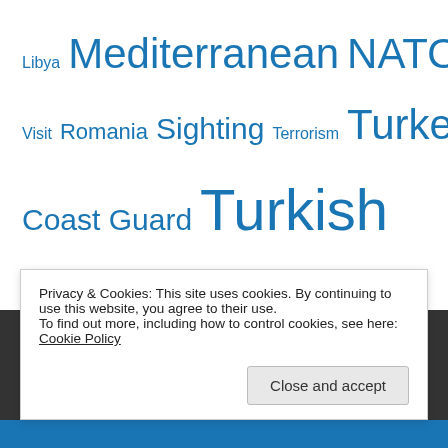Libya Mediterranean NATO NEO Personal Piracy Port Visit Romania Sighting Terrorism Turkey Turkish Coast Guard Turkish Navy Ukraine Uncategorized
Blog Stats
2,634,498 hits
Privacy & Cookies: This site uses cookies. By continuing to use this website, you agree to their use. To find out more, including how to control cookies, see here: Cookie Policy